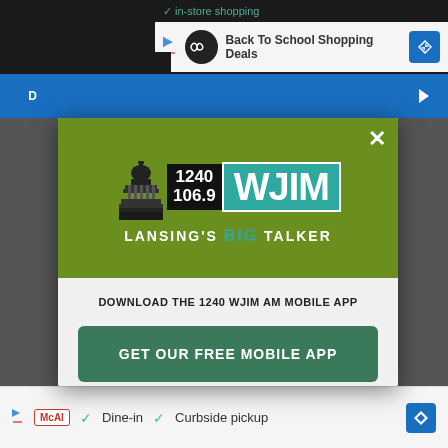[Figure (screenshot): Mobile browser screenshot showing a webpage with ads and a modal popup for WJIM 1240/106.9 AM radio station]
[Figure (logo): WJIM 1240 / 106.9 Lansing's Big Talker radio station logo with capitol building silhouette, frequency numbers, and teal WJIM text]
DOWNLOAD THE 1240 WJIM AM MOBILE APP
GET OUR FREE MOBILE APP
Also listen on:  amazon alexa